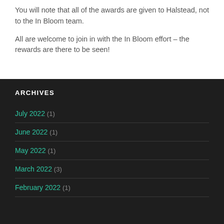You will note that all of the awards are given to Halstead, not to the In Bloom team.
All are welcome to join in with the In Bloom effort – the rewards are there to be seen!
ARCHIVES
July 2022 (1)
June 2022 (1)
May 2022 (1)
March 2022 (3)
February 2022 (1)